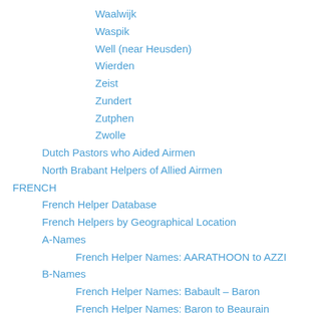Waalwijk
Waspik
Well (near Heusden)
Wierden
Zeist
Zundert
Zutphen
Zwolle
Dutch Pastors who Aided Airmen
North Brabant Helpers of Allied Airmen
FRENCH
French Helper Database
French Helpers by Geographical Location
A-Names
French Helper Names: AARATHOON to AZZI
B-Names
French Helper Names: Babault – Baron
French Helper Names: Baron to Beaurain
French Helper Names: Beaurain to Berrier
French Helper Names: Berringer to Bisiau